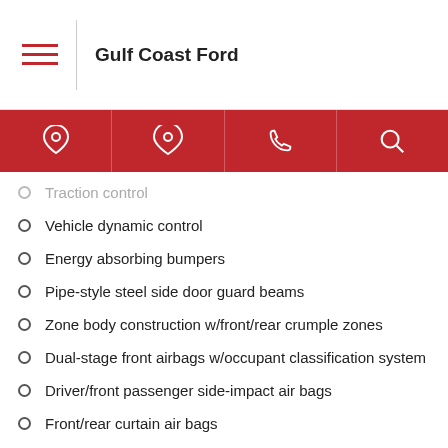Gulf Coast Ford
Traction control
Vehicle dynamic control
Energy absorbing bumpers
Pipe-style steel side door guard beams
Zone body construction w/front/rear crumple zones
Dual-stage front airbags w/occupant classification system
Driver/front passenger side-impact air bags
Front/rear curtain air bags
Front seat belts w/pretensioners, load limiters